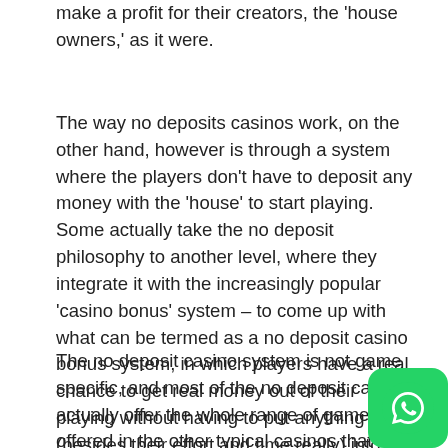make a profit for their creators, the 'house owners,' as it were.
The way no deposits casinos work, on the other hand, however is through a system where the players don't have to deposit any money with the 'house' to start playing. Some actually take the no deposit philosophy to another level, where they integrate it with the increasingly popular 'casino bonus' system – to come up with what can be termed as a no deposit casino bonus system, in which players have a real chance to get real money out of their playing without having to put anything (besides their effort and time really) into the 'house.' 918 kiss
The no deposit casino system is not game specific, and most of the no deposit casinos actually offer the whole range of games offered in the other typical casinos that demand deposits off their members, the games in question being anything from roulette to slots, blackjack and poker.
[Figure (logo): WhatsApp logo icon — green rounded square with white phone/chat icon]